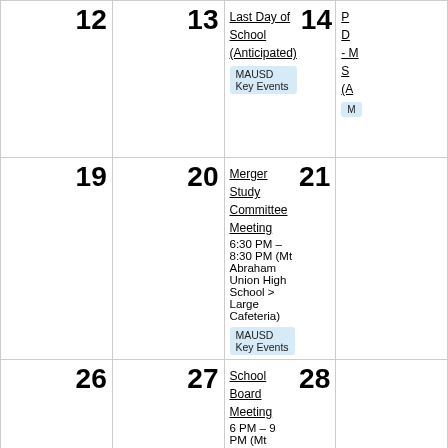| 12 | 13 | Last Day of School (Anticipated)
MAUSD Key Events | 14 [partial] |
| 19 | 20 | Merger Study Committee Meeting
6:30 PM – 8:30 PM (Mt Abraham Union High School > Large Cafeteria)
MAUSD Key Events | 21 [partial] |
| 26 | 27 | School Board Meeting
6 PM – 9 PM (Mt Abraham Union High School > Large Cafeteria)
MAUSD Key Events | 28 [partial] |